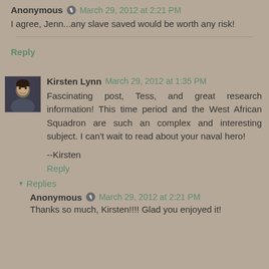Anonymous [pencil icon] March 29, 2012 at 2:21 PM
I agree, Jenn...any slave saved would be worth any risk!
Reply
Kirsten Lynn  March 29, 2012 at 1:35 PM
Fascinating post, Tess, and great research information! This time period and the West African Squadron are such an complex and interesting subject. I can't wait to read about your naval hero!
--Kirsten
Reply
▼ Replies
Anonymous [pencil icon] March 29, 2012 at 2:21 PM
Thanks so much, Kirsten!!!! Glad you enjoyed it!